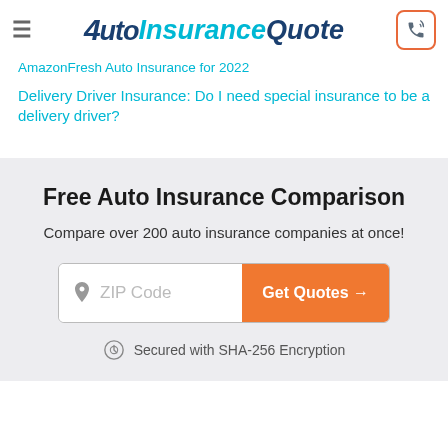AutoInsuranceQuote
AmazonFresh Auto Insurance for 2022
Delivery Driver Insurance: Do I need special insurance to be a delivery driver?
Free Auto Insurance Comparison
Compare over 200 auto insurance companies at once!
ZIP Code  Get Quotes →
Secured with SHA-256 Encryption